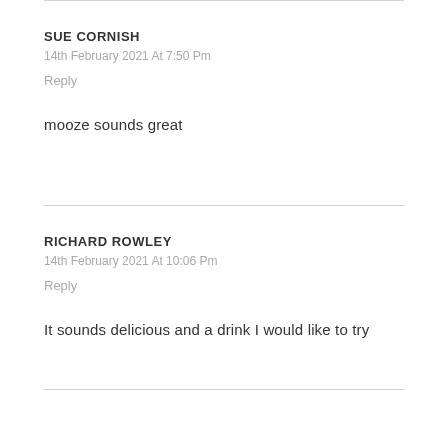SUE CORNISH
14th February 2021 At 7:50 Pm
Reply
mooze sounds great
RICHARD ROWLEY
14th February 2021 At 10:06 Pm
Reply
It sounds delicious and a drink I would like to try